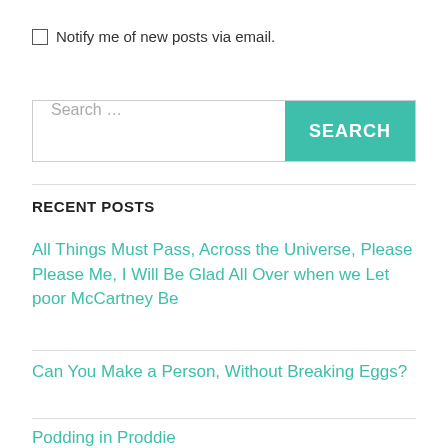Notify me of new posts via email.
Search …
RECENT POSTS
All Things Must Pass, Across the Universe, Please Please Me, I Will Be Glad All Over when we Let poor McCartney Be
Can You Make a Person, Without Breaking Eggs?
Podding in Proddie